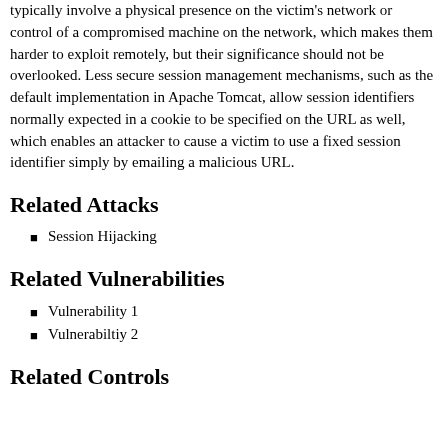typically involve a physical presence on the victim's network or control of a compromised machine on the network, which makes them harder to exploit remotely, but their significance should not be overlooked. Less secure session management mechanisms, such as the default implementation in Apache Tomcat, allow session identifiers normally expected in a cookie to be specified on the URL as well, which enables an attacker to cause a victim to use a fixed session identifier simply by emailing a malicious URL.
Related Attacks
Session Hijacking
Related Vulnerabilities
Vulnerability 1
Vulnerabiltiy 2
Related Controls